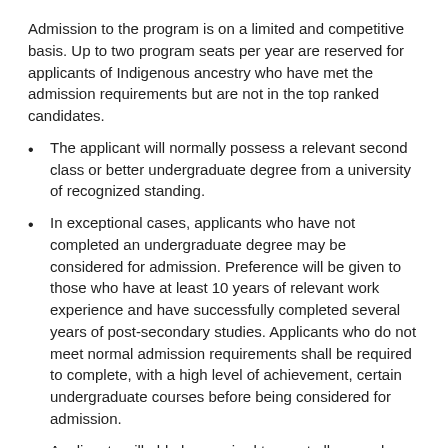Admission to the program is on a limited and competitive basis. Up to two program seats per year are reserved for applicants of Indigenous ancestry who have met the admission requirements but are not in the top ranked candidates.
The applicant will normally possess a relevant second class or better undergraduate degree from a university of recognized standing.
In exceptional cases, applicants who have not completed an undergraduate degree may be considered for admission. Preference will be given to those who have at least 10 years of relevant work experience and have successfully completed several years of post-secondary studies. Applicants who do not meet normal admission requirements shall be required to complete, with a high level of achievement, certain undergraduate courses before being considered for admission.
Applicants will able be required to meet all general admission requirements set forth by Memorial University's Graduate Studies, including English language proficiency requirements.
What Faculty Say
This program affords students the opportunity to learn through experience in the classroom, lab and field. It is all about learning